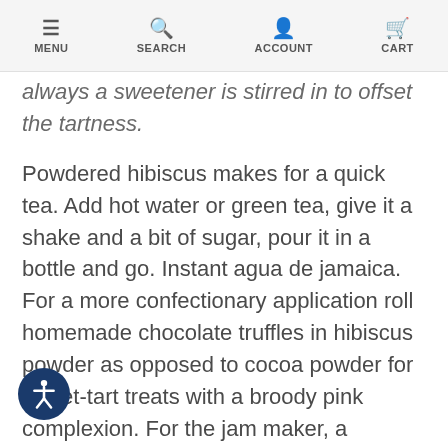MENU | SEARCH | ACCOUNT | CART
always a sweetener is stirred in to offset the tartness.
Powdered hibiscus makes for a quick tea. Add hot water or green tea, give it a shake and a bit of sugar, pour it in a bottle and go. Instant agua de jamaica. For a more confectionary application roll homemade chocolate truffles in hibiscus powder as opposed to cocoa powder for sweet-tart treats with a broody pink complexion. For the jam maker, a teaspoon of hibiscus powder added to stone fruit or berry jams adds complexity and a pleasant tart tang.
NOTE: In the inspection and processing of a 14,000 lb. shipment of conventional hibiscus our supplier received in February 2021, they discovered about a dozen peanut shell remnants (each less than 1/2 inch) which would equate to finding a total of 4 or 5 peanut shells (not actual peanuts, but shells) in 14,000